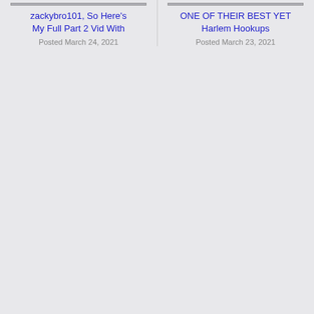zackybro101, So Here's My Full Part 2 Vid With
Posted March 24, 2021
ONE OF THEIR BEST YET Harlem Hookups
Posted March 23, 2021